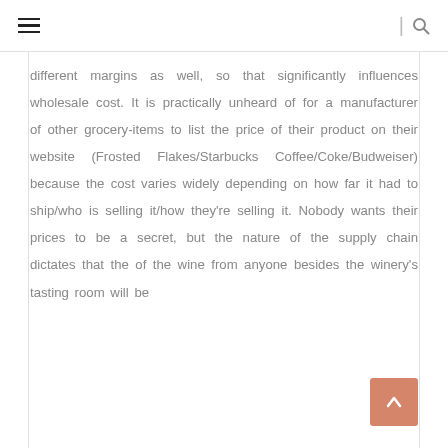≡  |  🔍
different margins as well, so that significantly influences wholesale cost. It is practically unheard of for a manufacturer of other grocery-items to list the price of their product on their website (Frosted Flakes/Starbucks Coffee/Coke/Budweiser) because the cost varies widely depending on how far it had to ship/who is selling it/how they're selling it. Nobody wants their prices to be a secret, but the nature of the supply chain dictates that the of the wine from anyone besides the winery's tasting room will be